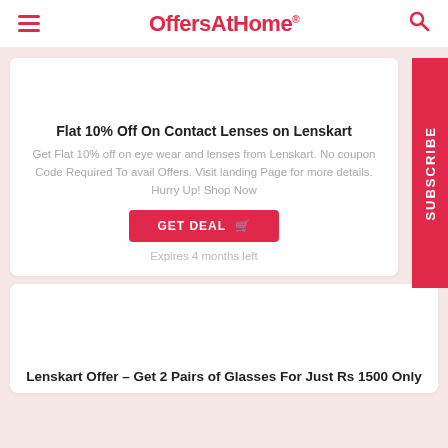OffersAtHome
Flat 10% Off On Contact Lenses on Lenskart
Get Flat 10% off on eye wear and lenses from Lenskart. No coupon Code Required To avail Offers. Visit landing Page for more details. Hurry Up! Shop Now
GET DEAL
Expires 4 months left
Lenskart Offer – Get 2 Pairs of Glasses For Just Rs 1500 Only